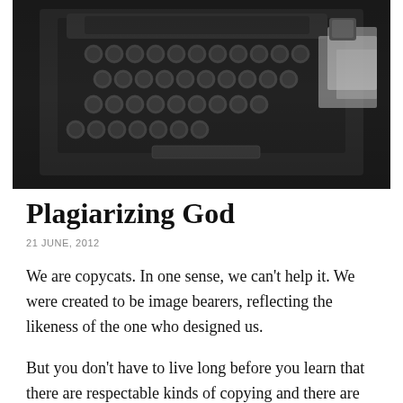[Figure (photo): Black and white photograph of a vintage typewriter keyboard with round keys, partially visible, with papers and a small cup in the background]
Plagiarizing God
21 JUNE, 2012
We are copycats. In one sense, we can't help it. We were created to be image bearers, reflecting the likeness of the one who designed us.
But you don't have to live long before you learn that there are respectable kinds of copying and there are dishonest kinds. If I'm writing out a thought, for example, and cite the authors and sources that inspired me, I honour them. If, however, I use someone else's work and don't give them credit then I am an idea-thief